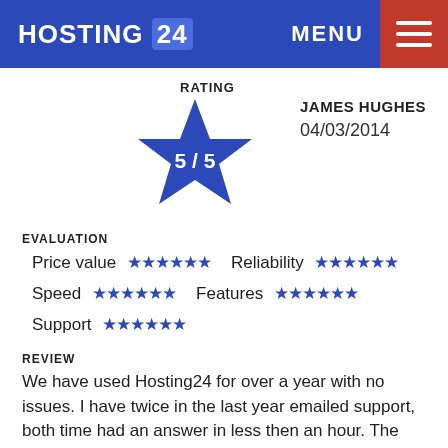HOSTING 24 | MENU
RATING
[Figure (other): Blue star rating icon showing 5 / 5]
JAMES HUGHES
04/03/2014
EVALUATION
Price value ★★★★★★ Reliability ★★★★★★
Speed ★★★★★★ Features ★★★★★★
Support ★★★★★★
REVIEW
We have used Hosting24 for over a year with no issues. I have twice in the last year emailed support, both time had an answer in less then an hour. The service has been excellent, support has been